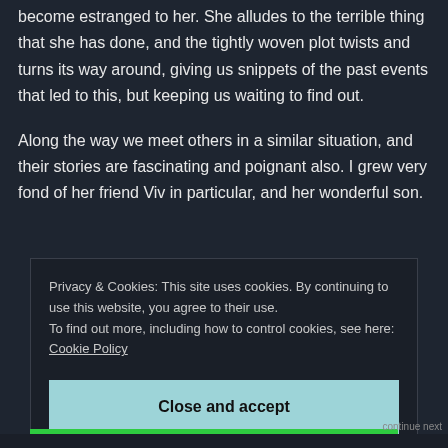become estranged to her. She alludes to the terrible thing that she has done, and the tightly woven plot twists and turns its way around, giving us snippets of the past events that led to this, but keeping us waiting to find out.
Along the way we meet others in a similar situation, and their stories are fascinating and poignant also. I grew very fond of her friend Viv in particular, and her wonderful son.
Privacy & Cookies: This site uses cookies. By continuing to use this website, you agree to their use.
To find out more, including how to control cookies, see here: Cookie Policy
Close and accept